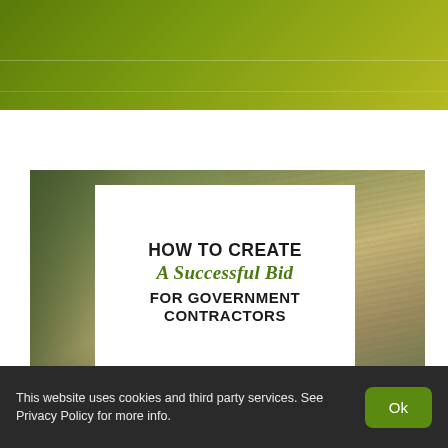[Figure (illustration): Green gradient header bar at the top of the page with subtle horizontal lines]
[Figure (photo): A blurred desk/table scene with wood grain texture and a white card overlay showing the title text. Left side has a green/olive toned object.]
HOW TO CREATE A Successful Bid FOR GOVERNMENT CONTRACTORS
This website uses cookies and third party services. See Privacy Policy for more info.